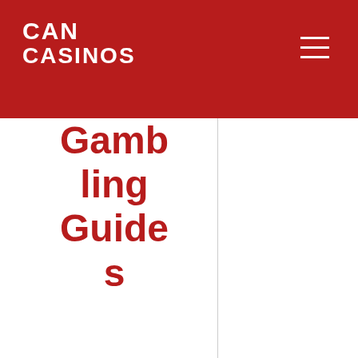CAN CASINOS
Gambling Guides
Real Money Casinos
Best Payout Online